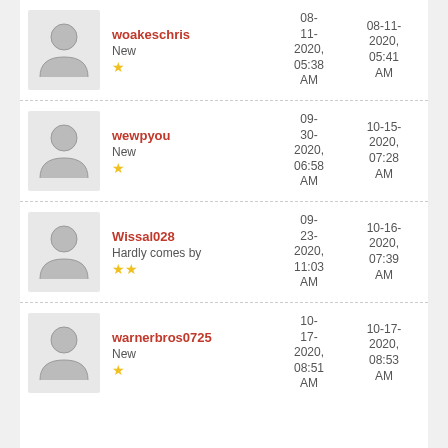woakeschris | New | 1 star | 08-11-2020, 05:38 AM | 08-11-2020, 05:41 AM
wewpyou | New | 1 star | 09-30-2020, 06:58 AM | 10-15-2020, 07:28 AM
Wissal028 | Hardly comes by | 2 stars | 09-23-2020, 11:03 AM | 10-16-2020, 07:39 AM
warnerbros0725 | New | 1 star | 10-17-2020, 08:51 AM | 10-17-2020, 08:53 AM